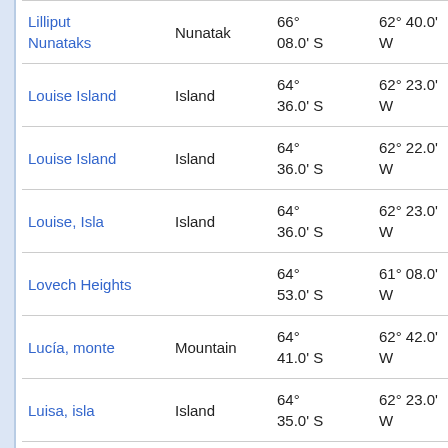| Name | Type | Latitude | Longitude |  |
| --- | --- | --- | --- | --- |
| Lilliput Nunataks | Nunatak | 66° 08.0' S | 62° 40.0' W | 10 at |
| Louise Island | Island | 64° 36.0' S | 62° 23.0' W | 76 at |
| Louise Island | Island | 64° 36.0' S | 62° 22.0' W | 76 at |
| Louise, Isla | Island | 64° 36.0' S | 62° 23.0' W | 76 at |
| Lovech Heights |  | 64° 53.0' S | 61° 08.0' W | 58 at |
| Lucía, monte | Mountain | 64° 41.0' S | 62° 42.0' W | 73 at |
| Luisa, isla | Island | 64° 35.0' S | 62° 23.0' W | 78 at |
| Macera, Caleta | Cove | 64° 40.0' S | 62° 03.0' W | 63 |